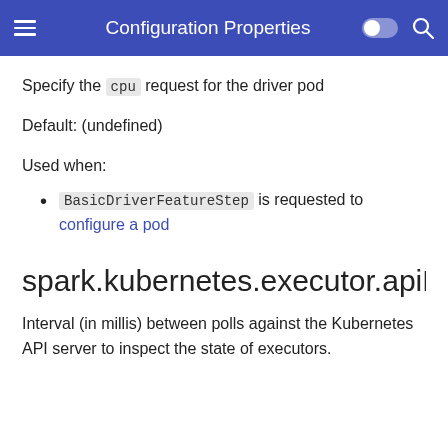Configuration Properties
Specify the cpu request for the driver pod
Default: (undefined)
Used when:
BasicDriverFeatureStep is requested to configure a pod
spark.kubernetes.executor.apiPollingInte
Interval (in millis) between polls against the Kubernetes API server to inspect the state of executors.